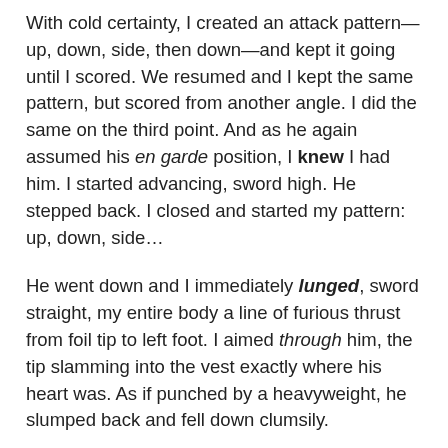With cold certainty, I created an attack pattern—up, down, side, then down—and kept it going until I scored. We resumed and I kept the same pattern, but scored from another angle. I did the same on the third point. And as he again assumed his en garde position, I knew I had him. I started advancing, sword high. He stepped back. I closed and started my pattern: up, down, side…
He went down and I immediately lunged, sword straight, my entire body a line of furious thrust from foil tip to left foot. I aimed through him, the tip slamming into the vest exactly where his heart was. As if punched by a heavyweight, he slumped back and fell down clumsily.
I straightened up slowly, the rush of energy flowing down and away. He groaned, grabbing his chest and his teammates came over. Edward, our captain, looked at me, his eyes boring into mine. Quickly, the bastard's friends removed vest, sweatshirt and T-shirt. I stepped off the strip to wait. They left.
I won that match by forfeit and made it to the finals, where